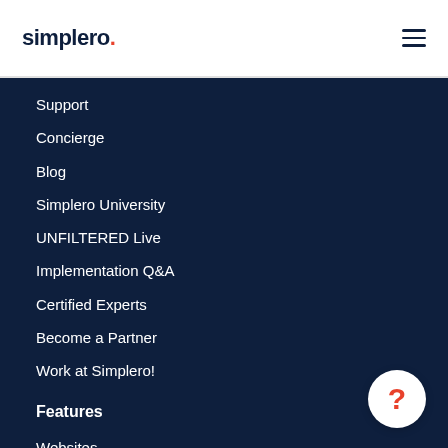simplero.
Support
Concierge
Blog
Simplero University
UNFILTERED Live
Implementation Q&A
Certified Experts
Become a Partner
Work at Simplero!
Features
Websites
Landing pages
Affiliate management
Email and automations